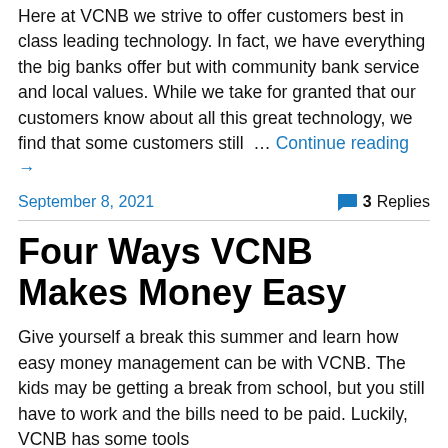Here at VCNB we strive to offer customers best in class leading technology. In fact, we have everything the big banks offer but with community bank service and local values. While we take for granted that our customers know about all this great technology, we find that some customers still … Continue reading →
September 8, 2021
3 Replies
Four Ways VCNB Makes Money Easy
Give yourself a break this summer and learn how easy money management can be with VCNB. The kids may be getting a break from school, but you still have to work and the bills need to be paid. Luckily, VCNB has some tools